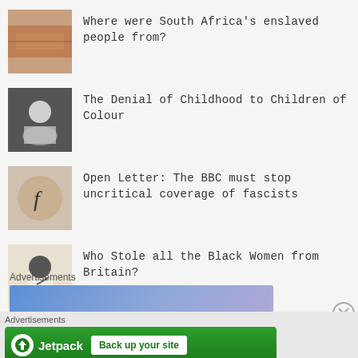Where were South Africa's enslaved people from?
The Denial of Childhood to Children of Colour
Open Letter: The BBC must stop uncritical coverage of fascists
Who Stole all the Black Women from Britain?
Advertisements
[Figure (other): Blue/purple gradient advertisement banner]
Advertisements
[Figure (other): Jetpack advertisement - Back up your site]